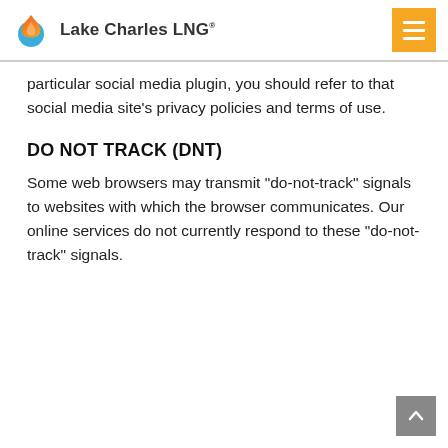Lake Charles LNG
particular social media plugin, you should refer to that social media site's privacy policies and terms of use.
DO NOT TRACK (DNT)
Some web browsers may transmit "do-not-track" signals to websites with which the browser communicates. Our online services do not currently respond to these "do-not-track" signals.